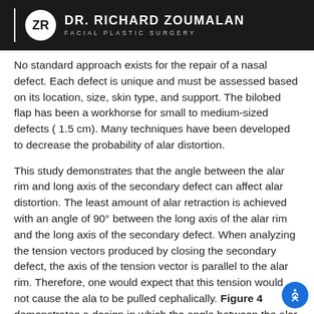DR. RICHARD ZOUMALAN FACIAL PLASTIC SURGERY
No standard approach exists for the repair of a nasal defect. Each defect is unique and must be assessed based on its location, size, skin type, and support. The bilobed flap has been a workhorse for small to medium-sized defects ( 1.5 cm). Many techniques have been developed to decrease the probability of alar distortion.
This study demonstrates that the angle between the alar rim and long axis of the secondary defect can affect alar distortion. The least amount of alar retraction is achieved with an angle of 90° between the long axis of the alar rim and the long axis of the secondary defect. When analyzing the tension vectors produced by closing the secondary defect, the axis of the tension vector is parallel to the alar rim. Therefore, one would expect that this tension would not cause the ala to be pulled cephalically. Figure 4 demonstrates a design in which the angle between the alar rim and axis of the secondary defect is close to 90°. F...